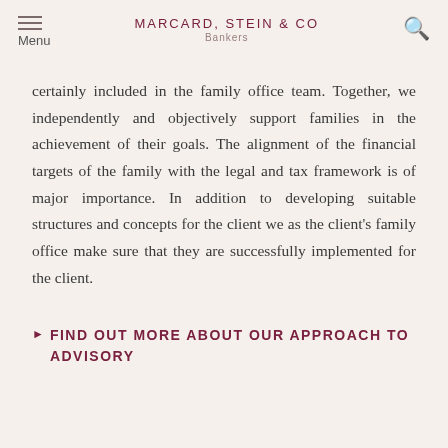MARCARD, STEIN & CO Bankers
certainly included in the family office team. Together, we independently and objectively support families in the achievement of their goals. The alignment of the financial targets of the family with the legal and tax framework is of major importance. In addition to developing suitable structures and concepts for the client we as the client's family office make sure that they are successfully implemented for the client.
▶ FIND OUT MORE ABOUT OUR APPROACH TO ADVISORY